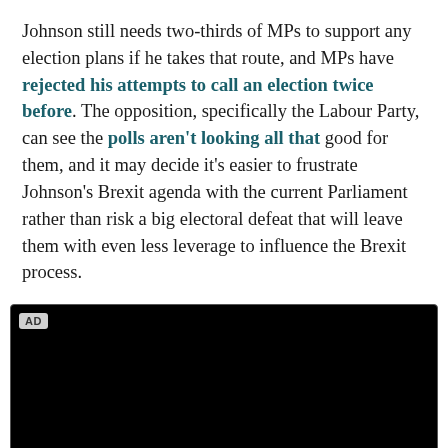Johnson still needs two-thirds of MPs to support any election plans if he takes that route, and MPs have rejected his attempts to call an election twice before. The opposition, specifically the Labour Party, can see the polls aren't looking all that good for them, and it may decide it's easier to frustrate Johnson's Brexit agenda with the current Parliament rather than risk a big electoral defeat that will leave them with even less leverage to influence the Brexit process.
[Figure (other): Black advertisement video/media placeholder with AD label in top left corner]